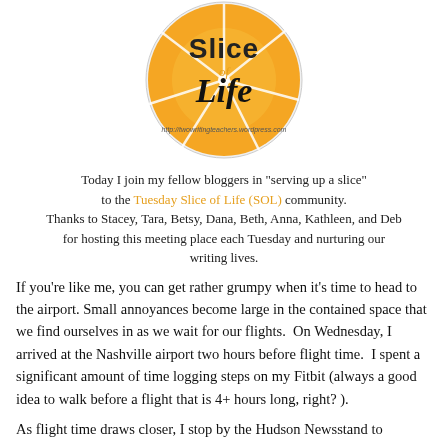[Figure (logo): Slice of Life logo — an orange slice illustration with text 'Slice of Life' and URL http://twowritingteachers.wordpress.com]
Today I join my fellow bloggers in "serving up a slice" to the Tuesday Slice of Life (SOL) community. Thanks to Stacey, Tara, Betsy, Dana, Beth, Anna, Kathleen, and Deb for hosting this meeting place each Tuesday and nurturing our writing lives.
If you're like me, you can get rather grumpy when it's time to head to the airport. Small annoyances become large in the contained space that we find ourselves in as we wait for our flights.  On Wednesday, I arrived at the Nashville airport two hours before flight time.  I spent a significant amount of time logging steps on my Fitbit (always a good idea to walk before a flight that is 4+ hours long, right? ).
As flight time draws closer, I stop by the Hudson Newsstand to